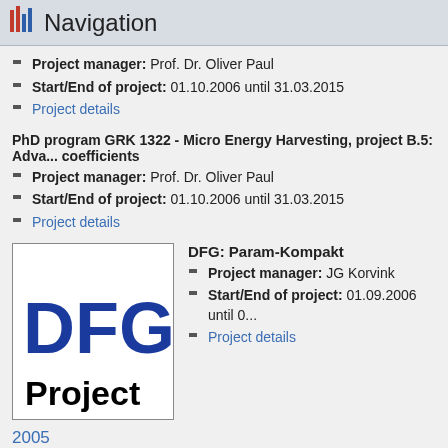Navigation
Project manager: Prof. Dr. Oliver Paul
Start/End of project: 01.10.2006 until 31.03.2015
Project details
PhD program GRK 1322 - Micro Energy Harvesting, project B.5: Adva... coefficients
Project manager: Prof. Dr. Oliver Paul
Start/End of project: 01.10.2006 until 31.03.2015
Project details
[Figure (logo): DFG Project logo - blue DFG letters on white background with 'Project' text below]
DFG: Param-Kompakt
Project manager: JG Korvink
Start/End of project: 01.09.2006 until 0...
Project details
2005